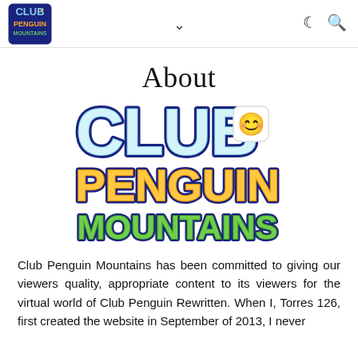Club Penguin Mountains [logo] [chevron] [moon icon] [search icon]
About
[Figure (logo): Club Penguin Mountains logo — large colorful text: 'CLUB' in icy blue, 'PENGUIN' in orange, 'MOUNTAINS' in green, with a smiley face emoji card in the upper right]
Club Penguin Mountains has been committed to giving our viewers quality, appropriate content to its viewers for the virtual world of Club Penguin Rewritten. When I, Torres 126, first created the website in September of 2013, I never